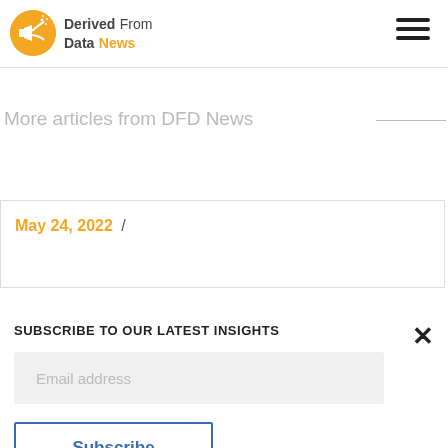Derived From Data News
More articles from DFD News
May 24, 2022 /
SUBSCRIBE TO OUR LATEST INSIGHTS
Email address
Subscribe